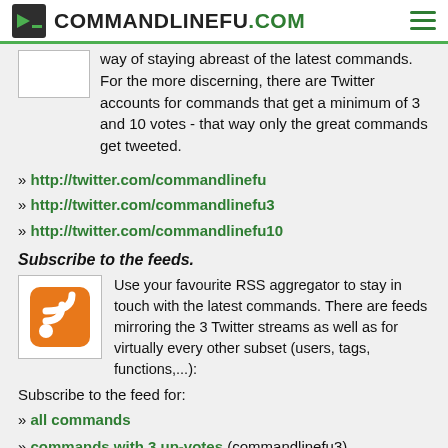COMMANDLINEFU.COM
way of staying abreast of the latest commands. For the more discerning, there are Twitter accounts for commands that get a minimum of 3 and 10 votes - that way only the great commands get tweeted.
» http://twitter.com/commandlinefu
» http://twitter.com/commandlinefu3
» http://twitter.com/commandlinefu10
Subscribe to the feeds.
Use your favourite RSS aggregator to stay in touch with the latest commands. There are feeds mirroring the 3 Twitter streams as well as for virtually every other subset (users, tags, functions,...):
Subscribe to the feed for:
» all commands
» commands with 3 up-votes (commandlinefu3)
» commands with 10 up-votes (commandlinefu10)